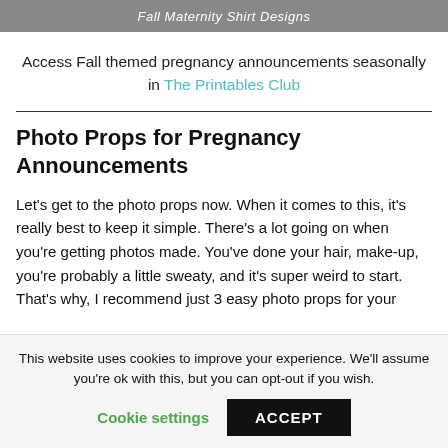[Figure (photo): Banner with gray background showing italic text 'Fall Maternity Shirt Designs']
Access Fall themed pregnancy announcements seasonally in The Printables Club
Photo Props for Pregnancy Announcements
Let's get to the photo props now. When it comes to this, it's really best to keep it simple. There's a lot going on when you're getting photos made. You've done your hair, make-up, you're probably a little sweaty, and it's super weird to start. That's why, I recommend just 3 easy photo props for your
This website uses cookies to improve your experience. We'll assume you're ok with this, but you can opt-out if you wish.